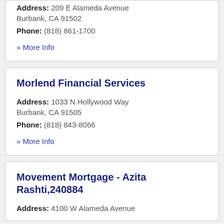Address: 209 E Alameda Avenue Burbank, CA 91502
Phone: (818) 861-1700
» More Info
Morlend Financial Services
Address: 1033 N Hollywood Way Burbank, CA 91505
Phone: (818) 843-8066
» More Info
Movement Mortgage - Azita Rashti,240884
Address: 4100 W Alameda Avenue